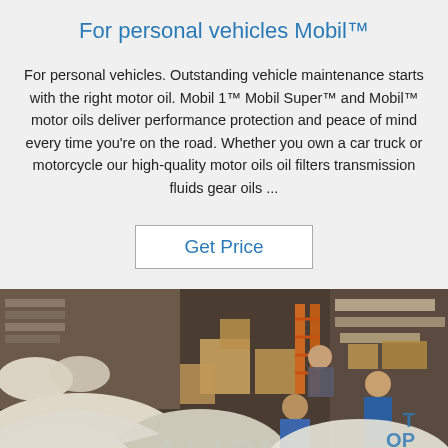For personal vehicles Mobil™
For personal vehicles. Outstanding vehicle maintenance starts with the right motor oil. Mobil 1™ Mobil Super™ and Mobil™ motor oils deliver performance protection and peace of mind every time you're on the road. Whether you own a car truck or motorcycle our high-quality motor oils oil filters transmission fluids gear oils ...
Get Price
[Figure (photo): Warehouse or factory interior scene showing workers handling large white dome-shaped objects among cardboard boxes and shelving. A watermark reading 'TOP' in blue appears in the lower right, and a faded text watermark spans the bottom center of the image.]